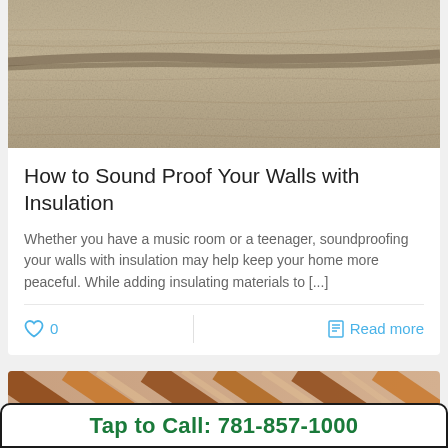[Figure (photo): Close-up photo of fibrous insulation material with a textured, sandy/beige surface with visible fiber strands and a darker streak running diagonally.]
How to Sound Proof Your Walls with Insulation
Whether you have a music room or a teenager, soundproofing your walls with insulation may help keep your home more peaceful. While adding insulating materials to [...]
[Figure (photo): Photo of a person working near wooden rafters or beams, partially visible at the bottom of the page.]
Tap to Call: 781-857-1000